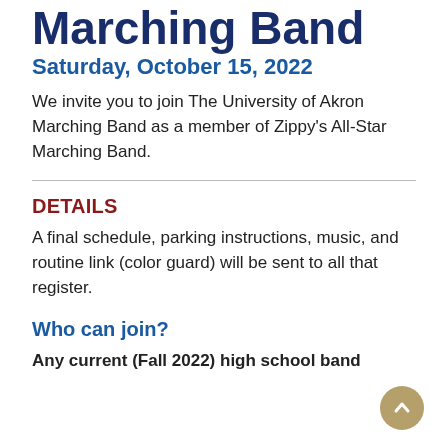Marching Band
Saturday, October 15, 2022
We invite you to join The University of Akron Marching Band as a member of Zippy's All-Star Marching Band.
DETAILS
A final schedule, parking instructions, music, and routine link (color guard) will be sent to all that register.
Who can join?
Any current (Fall 2022) high school band